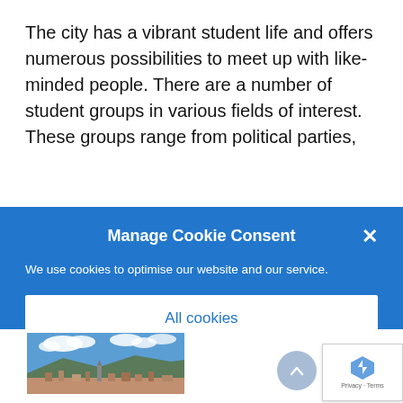The city has a vibrant student life and offers numerous possibilities to meet up with like-minded people. There are a number of student groups in various fields of interest. These groups range from political parties,
Manage Cookie Consent
We use cookies to optimise our website and our service.
All cookies
Deny
[Figure (photo): Aerial or elevated view of a European city (likely Heidelberg) with old town buildings, church tower, surrounding hills, and blue sky with white clouds.]
[Figure (other): reCAPTCHA badge with Privacy and Terms links and Google reCAPTCHA logo.]